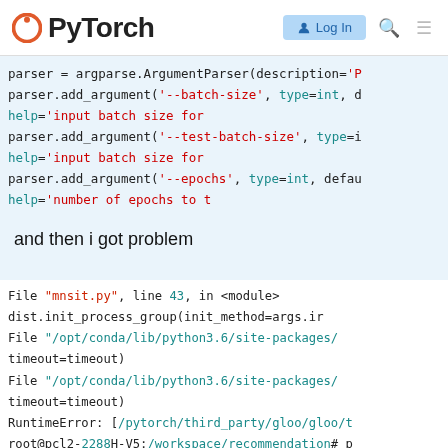PyTorch  Log In
[Figure (screenshot): Code snippet showing argparse.ArgumentParser and add_argument calls with --batch-size, --test-batch-size, and --epochs]
and then i got problem
[Figure (screenshot): Python traceback error: File mnsit.py line 43 in <module>, dist.init_process_group, File /opt/conda/lib/python3.6/site-packages/, timeout=timeout, RuntimeError: [/pytorch/third_party/gloo/gloo/t, root@pcl2-2288H-V5:/workspace/recommendation#]